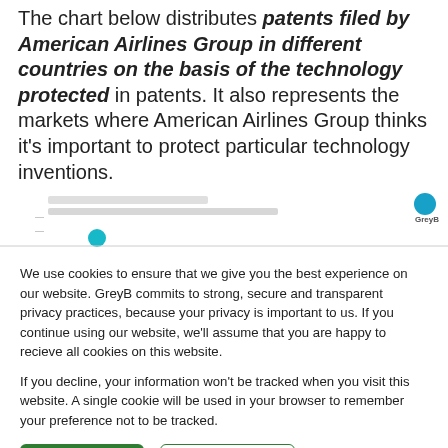The chart below distributes patents filed by American Airlines Group in different countries on the basis of the technology protected in patents. It also represents the markets where American Airlines Group thinks it's important to protect particular technology inventions.
[Figure (other): Partially visible chart (blurred/cropped), with a GreyB logo in the top right corner and a teal dot visible]
We use cookies to ensure that we give you the best experience on our website. GreyB commits to strong, secure and transparent privacy practices, because your privacy is important to us. If you continue using our website, we'll assume that you are happy to recieve all cookies on this website.

If you decline, your information won't be tracked when you visit this website. A single cookie will be used in your browser to remember your preference not to be tracked.